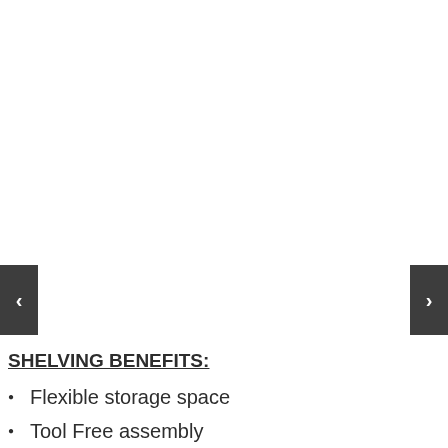[Figure (other): Navigation arrow buttons (previous/next) on left and right sides of an image carousel. Left button shows '<' and right button shows '>'. The image area above appears blank/white in this view.]
SHELVING BENEFITS:
Flexible storage space
Tool Free assembly
Frees up valuable floor space